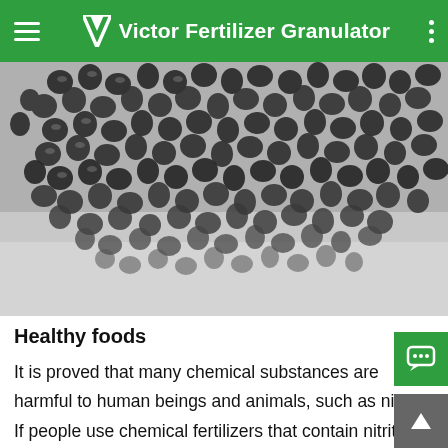Victor Fertilizer Granulator
[Figure (photo): Close-up black and white photo of dark fertilizer granules/pellets scattered on newspaper]
Healthy foods
It is proved that many chemical substances are harmful to human beings and animals, such as nitrite. If people use chemical fertilizers that contain nitrite, it would easily pers in plants after being absorbed. Instead the using of organ fertilizers would ensures the food free from the toxic